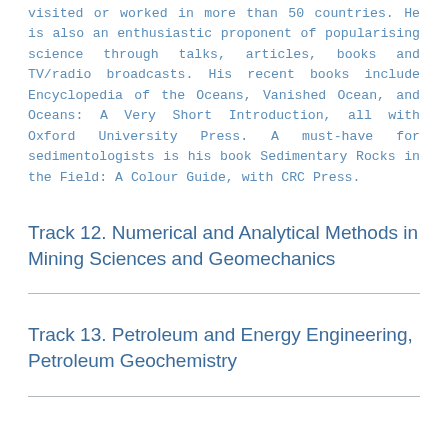visited or worked in more than 50 countries. He is also an enthusiastic proponent of popularising science through talks, articles, books and TV/radio broadcasts. His recent books include Encyclopedia of the Oceans, Vanished Ocean, and Oceans: A Very Short Introduction, all with Oxford University Press. A must-have for sedimentologists is his book Sedimentary Rocks in the Field: A Colour Guide, with CRC Press.
Track 12. Numerical and Analytical Methods in Mining Sciences and Geomechanics
Track 13. Petroleum and Energy Engineering, Petroleum Geochemistry